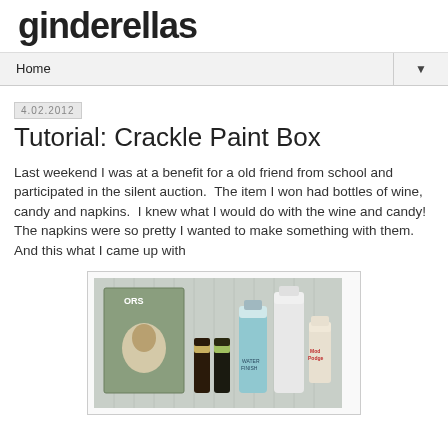ginderellas
Home
4.02.2012
Tutorial: Crackle Paint Box
Last weekend I was at a benefit for a old friend from school and participated in the silent auction.  The item I won had bottles of wine, candy and napkins.  I knew what I would do with the wine and candy!  The napkins were so pretty I wanted to make something with them.  And this what I came up with
[Figure (photo): Photo of craft supplies including a decorative tin/box with floral design, small paint bottles, and larger craft supply bottles on a white beadboard background]